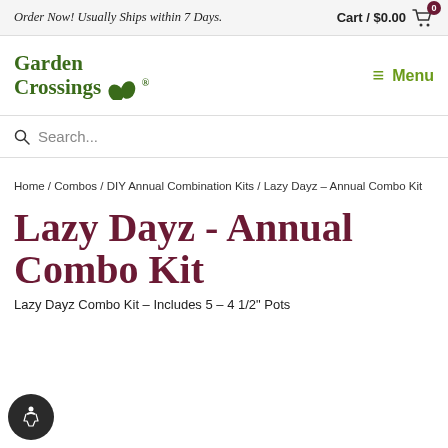Order Now! Usually Ships within 7 Days.  Cart / $0.00  [0]
[Figure (logo): Garden Crossings logo with two green leaf icons and green serif text]
≡ Menu
Search...
Home / Combos / DIY Annual Combination Kits / Lazy Dayz – Annual Combo Kit
Lazy Dayz - Annual Combo Kit
Lazy Dayz Combo Kit – Includes 5 – 4 1/2" Pots